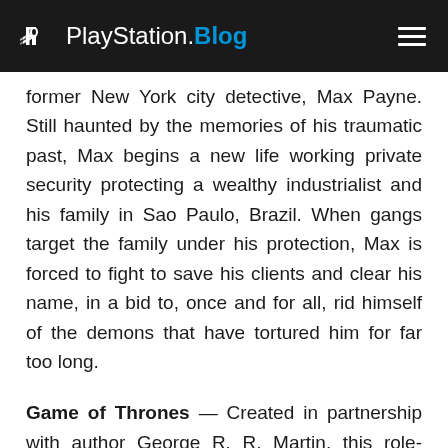PlayStation.Blog
former New York city detective, Max Payne. Still haunted by the memories of his traumatic past, Max begins a new life working private security protecting a wealthy industrialist and his family in Sao Paulo, Brazil. When gangs target the family under his protection, Max is forced to fight to save his clients and clear his name, in a bid to, once and for all, rid himself of the demons that have tortured him for far too long.
Game of Thrones — Created in partnership with author George R. R. Martin, this role-playing adventure is inspired by the author's award-winning, international bestselling A Song of Ice and Fire fantasy series (better known under its first book's title, A Game of Thrones.)